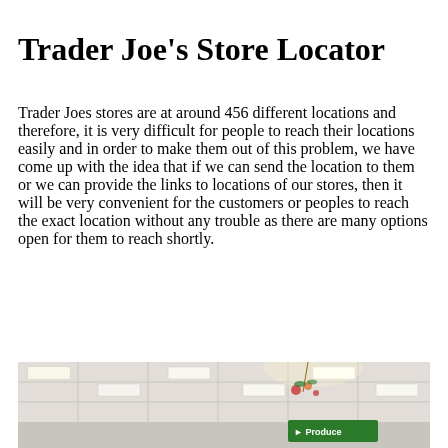Trader Joe's Store Locator
Trader Joes stores are at around 456 different locations and therefore, it is very difficult for people to reach their locations easily and in order to make them out of this problem, we have come up with the idea that if we can send the location to them or we can provide the links to locations of our stores, then it will be very convenient for the customers or peoples to reach the exact location without any trouble as there are many options open for them to reach shortly.
[Figure (photo): Interior photo of a Trader Joe's store showing ceiling tiles with fluorescent lights, decorative floral hanging, and a green street-style sign in the background.]